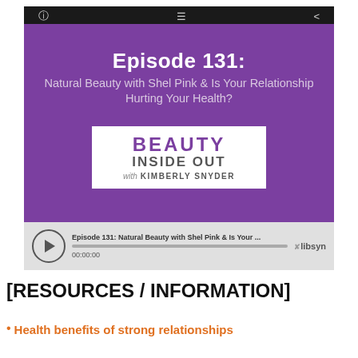[Figure (screenshot): Screenshot of a podcast episode player showing Episode 131: Natural Beauty with Shel Pink & Is Your Relationship Hurting Your Health? with Beauty Inside Out with Kimberly Snyder podcast branding on a purple background, and an audio player bar at the bottom showing 00:00:00 and libsyn branding.]
[RESOURCES / INFORMATION]
Health benefits of strong relationships